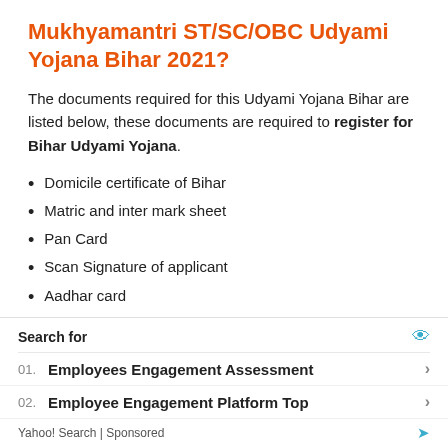Mukhyamantri ST/SC/OBC Udyami Yojana Bihar 2021?
The documents required for this Udyami Yojana Bihar are listed below, these documents are required to register for Bihar Udyami Yojana.
Domicile certificate of Bihar
Matric and inter mark sheet
Pan Card
Scan Signature of applicant
Aadhar card
Passport size photograph
Search for
01. Employees Engagement Assessment
02. Employee Engagement Platform Top
Yahoo! Search | Sponsored